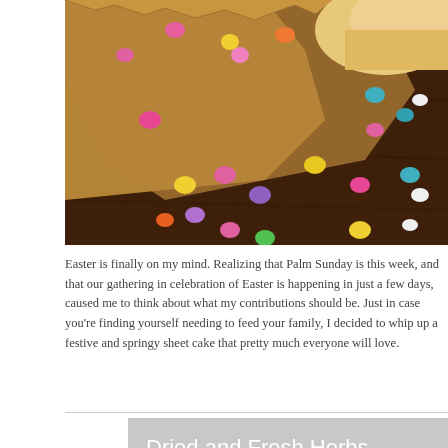[Figure (photo): Close-up photo of colorful candy Easter eggs/smarties scattered on a dark wooden surface with brown paper packaging and a piece of bread or cake visible]
Easter is finally on my mind. Realizing that Palm Sunday is this week, and that our gathering in celebration of Easter is happening in just a few days, caused me to think about what my contributions should be. Just in case you're finding yourself needing to feed your family, I decided to whip up a festive and springy sheet cake that pretty much everyone will love.
Dried and Fresh Herbs